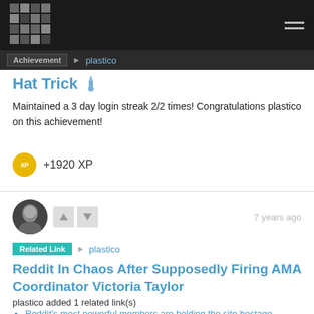Achievement ▶ plastico
Hat Trick 🏅
Maintained a 3 day login streak 2/2 times! Congratulations plastico on this achievement!
+1920 XP
7 years ago
Related Link ▶ plastico
Reddit In Chaos After Supposedly Firing AMA Coordinator Victoria Taylor
plastico added 1 related link(s)
Reddit's most powerful members are holding the site hostage